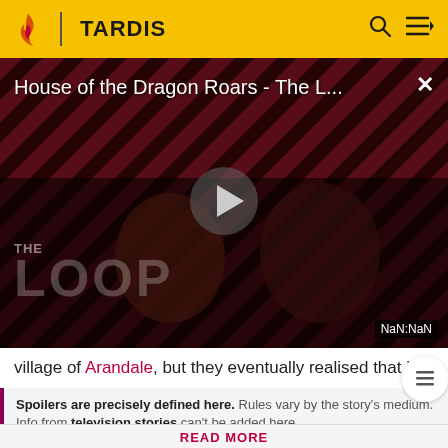TARDIS
[Figure (screenshot): Video player showing House of the Dragon Roars - The L... with play button, diagonal red/black stripe background, and THE LOOP branding. NaN:NaN timestamp shown.]
village of Arandale, but they eventually realised that it
Spoilers are precisely defined here. Rules vary by the story's medium. Info from television stories can't be added here
READ MORE